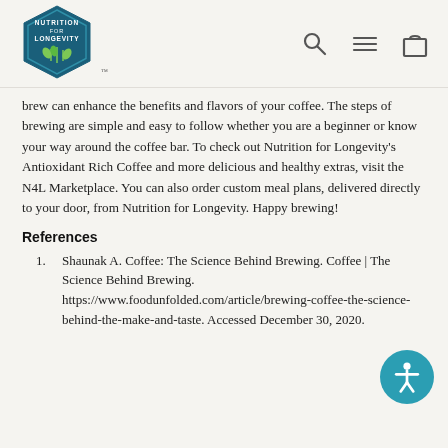[Figure (logo): Nutrition for Longevity hexagonal logo with plant sprouts]
[Figure (infographic): Navigation icons: search magnifier, hamburger menu, shopping bag]
brew can enhance the benefits and flavors of your coffee. The steps of brewing are simple and easy to follow whether you are a beginner or know your way around the coffee bar. To check out Nutrition for Longevity's Antioxidant Rich Coffee and more delicious and healthy extras, visit the N4L Marketplace. You can also order custom meal plans, delivered directly to your door, from Nutrition for Longevity. Happy brewing!
References
Shaunak A. Coffee: The Science Behind Brewing. Coffee | The Science Behind Brewing. https://www.foodunfolded.com/article/brewing-coffee-the-science-behind-the-make-and-taste. Accessed December 30, 2020.